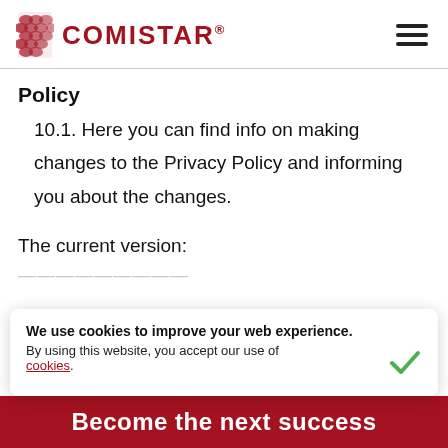COMISTAR
Policy
10.1. Here you can find info on making changes to the Privacy Policy and informing you about the changes.
The current version:
We use cookies to improve your web experience. By using this website, you accept our use of cookies.
Become the next success